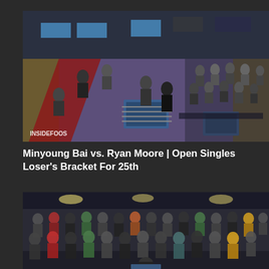[Figure (photo): Aerial view of a foosball tournament hall. Players are gathered around blue foosball tables on a patterned carpet floor. Spectators sit in chairs along the sides. An audience watches from the right side. Watermark 'INSIDEFOOS' visible at bottom left of image.]
Minyoung Bai vs. Ryan Moore | Open Singles Loser's Bracket For 25th
[Figure (photo): A large crowd of spectators seated in rows of chairs in a tournament venue, watching a foosball match. One person stands at the bottom of the frame near a foosball table, viewed from behind.]